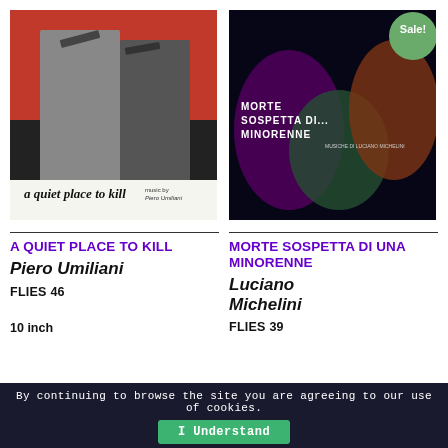[Figure (photo): Album cover for 'A Quiet Place to Kill' by Piero Umiliani. Black and white photo of two women holding guns against a red background, with album title text at the bottom.]
[Figure (photo): Album cover for 'Morte Sospetta di Una Minorenne' by Luciano Michelini. Dark graphic design with purple, orange and green tones showing a face. Has a green circular 'Sale!' badge in the top right corner.]
A QUIET PLACE TO KILL
Piero Umiliani
FLIES 46
10 inch
MORTE SOSPETTA DI UNA MINORENNE
Luciano Michelini
FLIES 39
By continuing to browse the site you are agreeing to our use of cookies.
I Understand